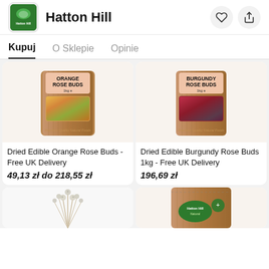Hatton Hill
Kupuj
O Sklepie
Opinie
[Figure (photo): Brown kraft paper bag of Orange Rose Buds 1kg with pink label and visible dried orange flowers]
[Figure (photo): Brown kraft paper bag of Burgundy Rose Buds 1kg with pink label and visible dried burgundy flowers]
Dried Edible Orange Rose Buds - Free UK Delivery
Dried Edible Burgundy Rose Buds 1kg - Free UK Delivery
49,13 zł do 218,55 zł
196,69 zł
[Figure (photo): Dried white/cream flower bunch on white background]
[Figure (photo): Brown kraft paper bag partially visible with Hatton Hill Natural logo and green badge]